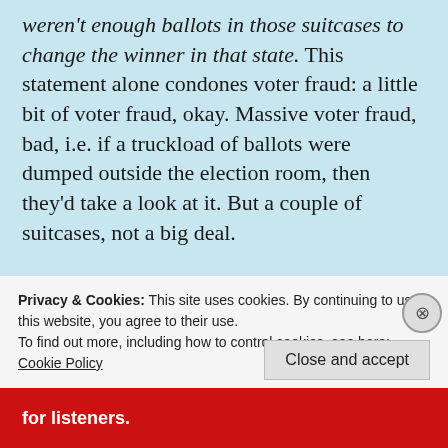weren't enough ballots in those suitcases to change the winner in that state. This statement alone condones voter fraud: a little bit of voter fraud, okay. Massive voter fraud, bad, i.e. if a truckload of ballots were dumped outside the election room, then they'd take a look at it. But a couple of suitcases, not a big deal.

Apparently hundreds of whistleblowers' sworn affidavits that observed voter fraud in action are not good enough for the Democrats nor the
Privacy & Cookies: This site uses cookies. By continuing to use this website, you agree to their use.
To find out more, including how to control cookies, see here: Cookie Policy
Close and accept
for listeners.